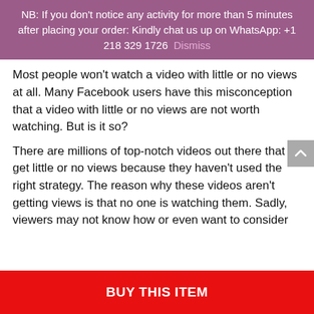NB: If you don't notice any activity for more than 5 minutes after placing your order: Kindly chat us up on WhatsApp: +1 218 329 1726 Dismiss
Most people won't watch a video with little or no views at all. Many Facebook users have this misconception that a video with little or no views are not worth watching. But is it so?
There are millions of top-notch videos out there that get little or no views because they haven't used the right strategy. The reason why these videos aren't getting views is that no one is watching them. Sadly, viewers may not know how or even want to consider
BUY THIS ITEM